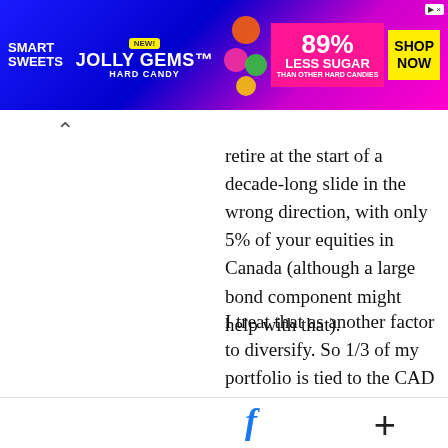[Figure (other): Smart Sweets Jolly Gems Hard Candy advertisement banner. 89% Less Sugar than other hard candies. SHOP NOW button. NEW badge.]
retire at the start of a decade-long slide in the wrong direction, with only 5% of your equities in Canada (although a large bond component might help with that).
I treat that as another factor to diversify. So 1/3 of my portfolio is tied to the CAD (most of it doubles as commodity exposure too) and the other 2/3 can vary based on exchange rates. Over a long period that mix will allow me to rebalance and take advantage of swings in the exchange rate. With only 5% in Canada,